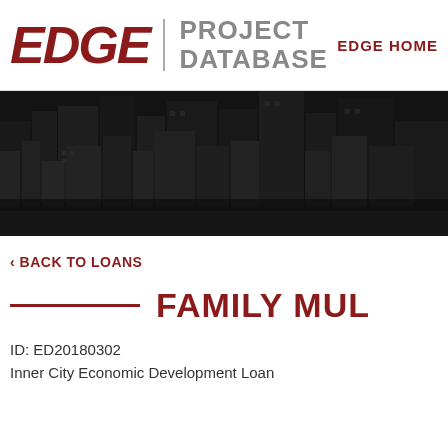EDGE PROJECT DATABASE  EDGE HOME
[Figure (photo): Aerial black and white cityscape banner showing urban buildings and roads]
‹ BACK TO LOANS
FAMILY MUL
ID: ED20180302
Inner City Economic Development Loan